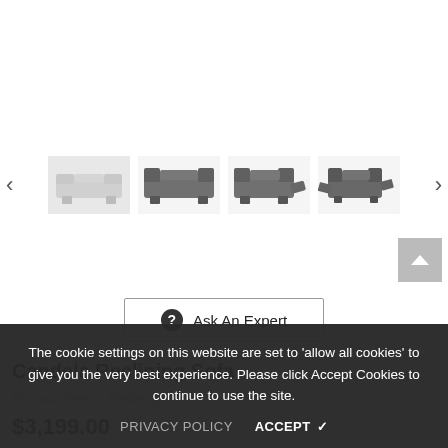[Figure (photo): Product carousel showing four thumbnail images of the Candela Reclining Sofa in various positions and angles, with left and right navigation arrows and a scroll-up button]
Ask An Expert
Candela Reclining Sofa
Product Type  Reclining Sofa
$3,199.00
The cookie settings on this website are set to 'allow all cookies' to give you the very best experience. Please click Accept Cookies to continue to use the site.
PRIVACY POLICY   ACCEPT ✓